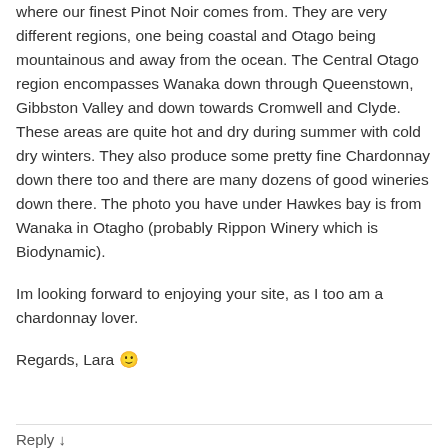where our finest Pinot Noir comes from. They are very different regions, one being coastal and Otago being mountainous and away from the ocean. The Central Otago region encompasses Wanaka down through Queenstown, Gibbston Valley and down towards Cromwell and Clyde. These areas are quite hot and dry during summer with cold dry winters. They also produce some pretty fine Chardonnay down there too and there are many dozens of good wineries down there. The photo you have under Hawkes bay is from Wanaka in Otagho (probably Rippon Winery which is Biodynamic).
Im looking forward to enjoying your site, as I too am a chardonnay lover.
Regards, Lara 🙂
Reply ↓